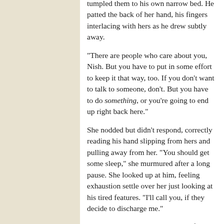tumpled them to his own narrow bed. He patted the back of her hand, his fingers interlacing with hers as he drew subtly away.
"There are people who care about you, Nish. But you have to put in some effort to keep it that way, too. If you don't want to talk to someone, don't. But you have to do something, or you're going to end up right back here."
She nodded but didn’t respond, correctly reading his hand slipping from hers and pulling away from her. “You should get some sleep,” she murmured after a long pause. She looked up at him, feeling exhaustion settle over her just looking at his tired features. “I’ll call you, if they decide to discharge me.”
"I'll pick you up when they do." After rising from his chair, he